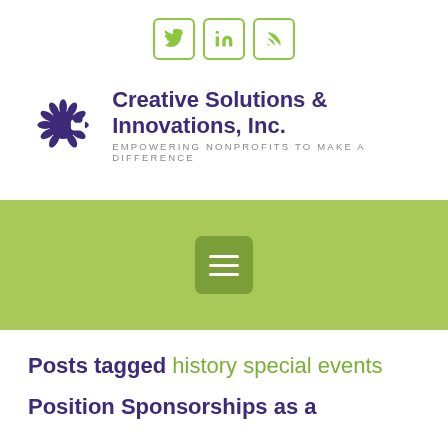[Figure (other): Social media icon buttons for Twitter, LinkedIn, and RSS feed, rendered as green-bordered rounded squares]
[Figure (logo): Creative Solutions & Innovations, Inc. logo with purple puzzle-piece star icon and company name. Tagline: EMPOWERING NONPROFITS TO MAKE A DIFFERENCE]
[Figure (other): Green navigation bar with hamburger menu button (three white horizontal lines on darker green square background)]
Posts tagged history special events
Position Sponsorships as a